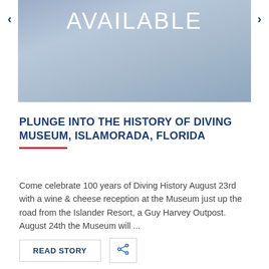[Figure (other): Blue-grey gradient banner with the word AVAILABLE in large white letters, with left and right navigation arrows on either side]
PLUNGE INTO THE HISTORY OF DIVING MUSEUM, ISLAMORADA, FLORIDA
Come celebrate 100 years of Diving History August 23rd with a wine & cheese reception at the Museum just up the road from the Islander Resort, a Guy Harvey Outpost. August 24th the Museum will ...
READ STORY